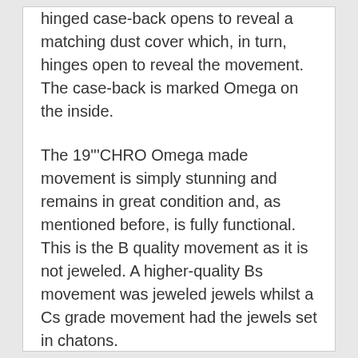hinged case-back opens to reveal a matching dust cover which, in turn, hinges open to reveal the movement. The case-back is marked Omega on the inside.
The 19'''CHRO Omega made movement is simply stunning and remains in great condition and, as mentioned before, is fully functional. This is the B quality movement as it is not jeweled. A higher-quality Bs movement was jeweled jewels whilst a Cs grade movement had the jewels set in chatons.
So this is a great piece of Omega heritage dating back to the very beginning of the Omega brand.